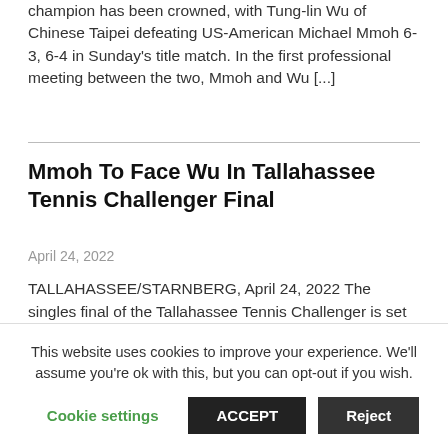champion has been crowned, with Tung-lin Wu of Chinese Taipei defeating US-American Michael Mmoh 6-3, 6-4 in Sunday's title match. In the first professional meeting between the two, Mmoh and Wu [...]
Mmoh To Face Wu In Tallahassee Tennis Challenger Final
April 24, 2022
TALLAHASSEE/STARNBERG, April 24, 2022 The singles final of the Tallahassee Tennis Challenger is set with Tung-lin Wu from Chinese Taipei and US-American Michael Mmoh fighting for the title on Sunday. First up on Saturday, Wu took to the
This website uses cookies to improve your experience. We'll assume you're ok with this, but you can opt-out if you wish.
Cookie settings  ACCEPT  Reject